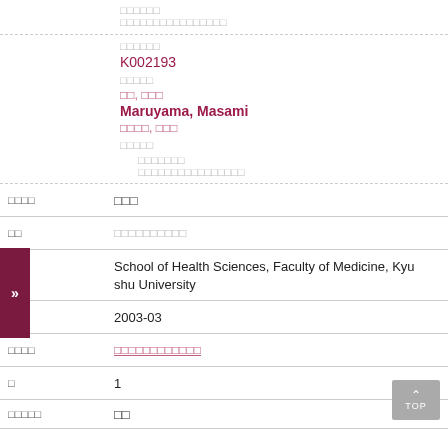□□□□□□
□□□□□□□□□□□□□□□□
□□□□□□
K002193
□□□□□
□□, □□□
Maruyama, Masami
□□□□, □□□
□□□□□
□□□□□□□
□□□□□□□□□□□□□□□□
| □□□□ | □□□ |
| □□ | □□□□□□□□□□ |
|  | School of Health Sciences, Faculty of Medicine, Kyushu University |
| □□□ | 2003-03 |
| □□□□ | □□□□□□□□□□□□ |
| □ | 1 |
| □□□□□ | □□ |